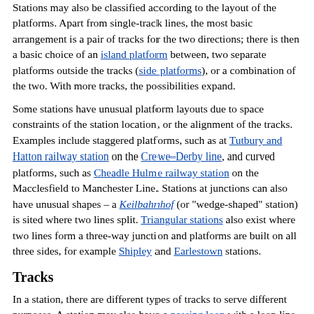Stations may also be classified according to the layout of the platforms. Apart from single-track lines, the most basic arrangement is a pair of tracks for the two directions; there is then a basic choice of an island platform between, two separate platforms outside the tracks (side platforms), or a combination of the two. With more tracks, the possibilities expand.
Some stations have unusual platform layouts due to space constraints of the station location, or the alignment of the tracks. Examples include staggered platforms, such as at Tutbury and Hatton railway station on the Crewe–Derby line, and curved platforms, such as Cheadle Hulme railway station on the Macclesfield to Manchester Line. Stations at junctions can also have unusual shapes – a Keilbahnhof (or "wedge-shaped" station) is sited where two lines split. Triangular stations also exist where two lines form a three-way junction and platforms are built on all three sides, for example Shipley and Earlestown stations.
Tracks
In a station, there are different types of tracks to serve different purposes. A station may also have a passing loop with a loop line that comes off the straight main line and merge back to the main line on the other end by railroad switches to allow trains to pass. [19]